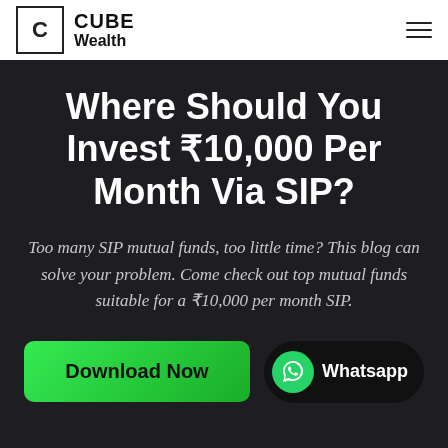[Figure (logo): Cube Wealth logo with a square box containing letter C on the left, and CUBE Wealth text on the right]
Where Should You Invest ₹10,000 Per Month Via SIP?
Too many SIP mutual funds, too little time? This blog can solve your problem. Come check out top mutual funds suitable for a ₹10,000 per month SIP.
Download Now
Whatsapp